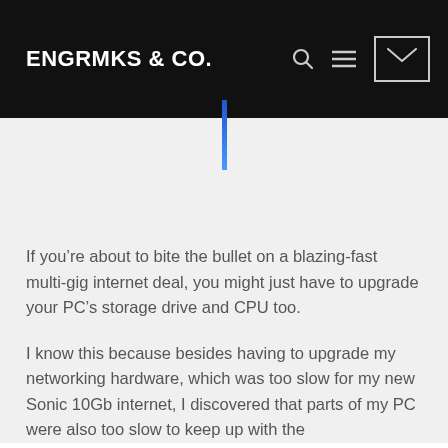ENGRMKS & CO.
[Figure (other): Blue vertical decorative bar divider below the navigation header]
If you’re about to bite the bullet on a blazing-fast multi-gig internet deal, you might just have to upgrade your PC’s storage drive and CPU too.
I know this because besides having to upgrade my networking hardware, which was too slow for my new Sonic 10Gb internet, I discovered that parts of my PC were also too slow to keep up with the